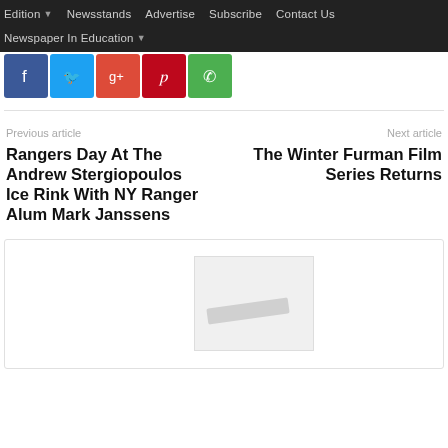Edition | Newsstands | Advertise | Subscribe | Contact Us | Newspaper In Education
[Figure (other): Social share buttons: Facebook, Twitter, Google+, Pinterest, WhatsApp]
Previous article
Rangers Day At The Andrew Stergiopoulos Ice Rink With NY Ranger Alum Mark Janssens
Next article
The Winter Furman Film Series Returns
[Figure (photo): A light gray placeholder image box with a blurred pencil or ruler shape inside, centered-right in a bordered container]